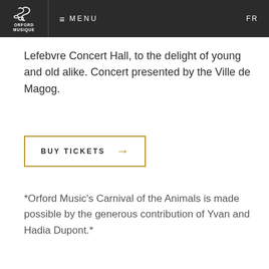ORFORD MUSIQUE — MENU — FR
Lefebvre Concert Hall, to the delight of young and old alike. Concert presented by the Ville de Magog.
BUY TICKETS →
*Orford Music's Carnival of the Animals is made possible by the generous contribution of Yvan and Hadia Dupont.*